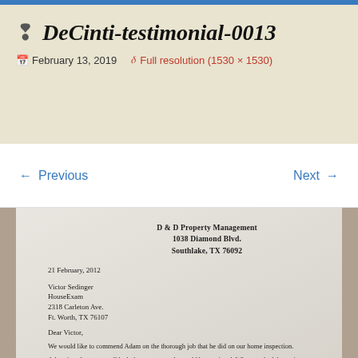DeCinti-testimonial-0013
February 13, 2019   Full resolution (1530 × 1530)
← Previous   Next →
[Figure (photo): Photo of a physical letter from D & D Property Management, 1038 Diamond Blvd., Southlake, TX 76092, dated 21 February, 2012, addressed to Victor Sedinger, HouseExam, 2318 Carleton Ave., Ft. Worth, TX 76107. The letter begins: Dear Victor, We would like to commend Adam on the thorough job that he did on our home inspection. Adam found a very small leak that many people would have missed. When tracked down, it was determined to be either in or under the...]